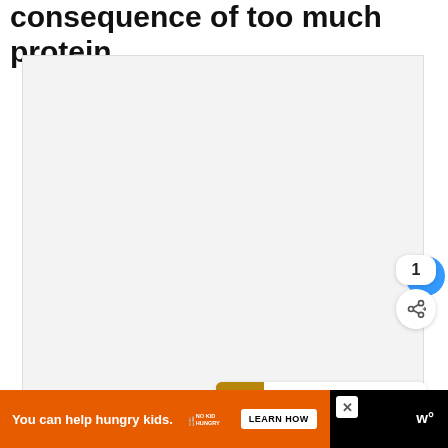consequence of too much protein.
[Figure (photo): Large light gray placeholder image area for an embedded photo or video related to the article about protein consequences for deer.]
[Figure (other): Interactive UI elements: heart/like button (blue circle with heart icon), like count badge showing '1', and share button (white circle with share icon).]
[Figure (other): What's Next recommendation card showing a thumbnail of corn and text 'Can Deer Eat Corn on the...']
[Figure (other): Advertisement banner: orange background with text 'You can help hungry kids.' No Kid Hungry logo and LEARN HOW button, with close button. Black bar on right with site logo 'w°'.]